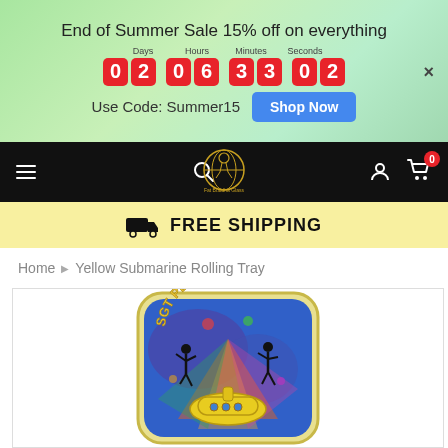End of Summer Sale 15% off on everything
[Figure (infographic): Countdown timer showing Days: 02, Hours: 06, Minutes: 33, Seconds: 02 with red digit boxes and labels above]
Use Code: Summer15
[Figure (other): Blue 'Shop Now' button]
[Figure (logo): Store logo - circular globe with figure, text 'Fat Buddha Glass']
[Figure (infographic): Free shipping banner with truck icon and 'FREE SHIPPING' text]
Home > Yellow Submarine Rolling Tray
[Figure (photo): Yellow Submarine Rolling Tray product image showing colorful psychedelic art with Sgt Peppers theme, silhouette dancers, yellow submarine, blue background]